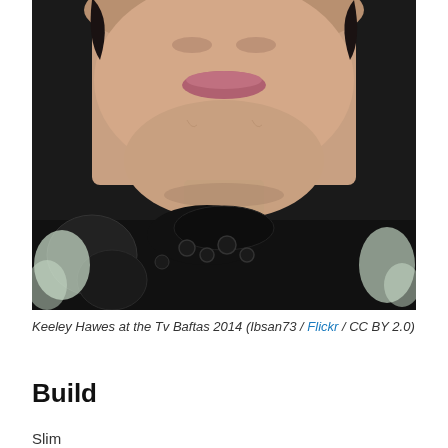[Figure (photo): Close-up photo of Keeley Hawes at the TV Baftas 2014, showing her face and upper body wearing a black lace outfit]
Keeley Hawes at the Tv Baftas 2014 (Ibsan73 / Flickr / CC BY 2.0)
Build
Slim